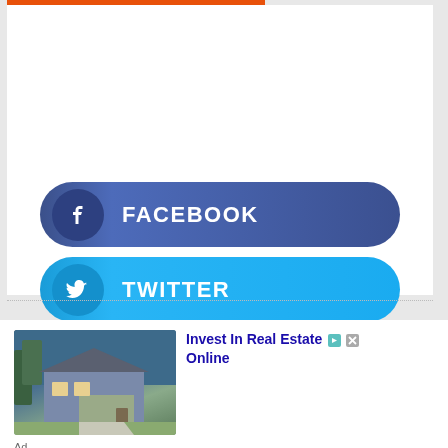[Figure (infographic): Orange banner advertisement: 'Help send medical aid to Ukraine >>' with Direct Relief logo]
FACEBOOK
TWITTER
LINKEDIN
[Figure (photo): House photo for real estate advertisement]
Invest In Real Estate Online
Ad